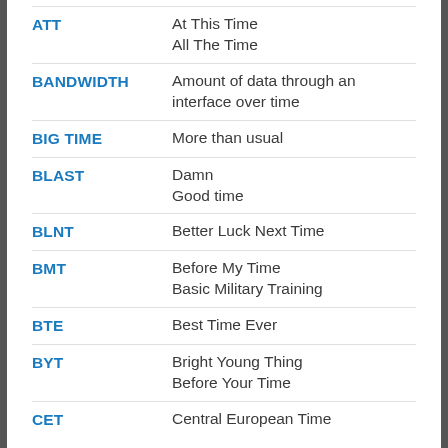| Abbreviation | Definition |
| --- | --- |
| ATT | At This Time
All The Time |
| BANDWIDTH | Amount of data through an interface over time |
| BIG TIME | More than usual |
| BLAST | Damn
Good time |
| BLNT | Better Luck Next Time |
| BMT | Before My Time
Basic Military Training |
| BTE | Best Time Ever |
| BYT | Bright Young Thing
Before Your Time |
| CET | Central European Time |